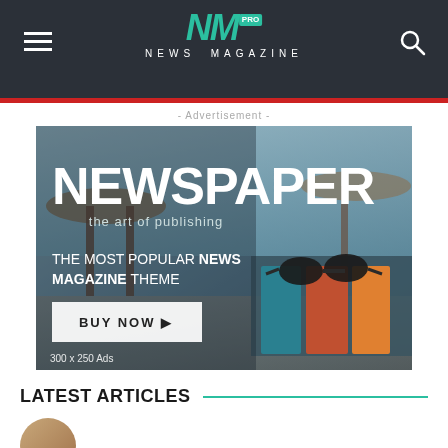NEWS MAGAZINE
- Advertisement -
[Figure (photo): Advertisement banner for 'Newspaper' WordPress theme. Shows bold white text 'NEWSPAPER the art of publishing' and 'THE MOST POPULAR NEWS MAGAZINE THEME' over a beach/books background. Includes a 'BUY NOW' button and '300 x 250 Ads' label.]
LATEST ARTICLES